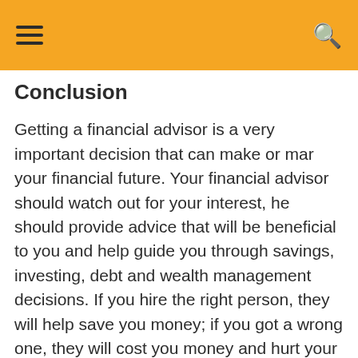≡  🔍
Conclusion
Getting a financial advisor is a very important decision that can make or mar your financial future. Your financial advisor should watch out for your interest, he should provide advice that will be beneficial to you and help guide you through savings, investing, debt and wealth management decisions. If you hire the right person, they will help save you money; if you got a wrong one, they will cost you money and hurt your finances. There are plenty of financial advisors out there; there are honest ones as